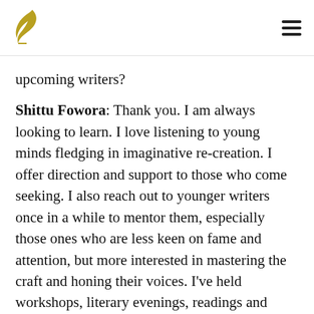Logo and navigation menu
upcoming writers?
Shittu Fowora: Thank you. I am always looking to learn. I love listening to young minds fledging in imaginative re-creation. I offer direction and support to those who come seeking. I also reach out to younger writers once in a while to mentor them, especially those ones who are less keen on fame and attention, but more interested in mastering the craft and honing their voices. I've held workshops, literary evenings, readings and offered editing assistance where need be. I also see a lot of rising artists struggle to strike a balance between improving their skills and making ends meet